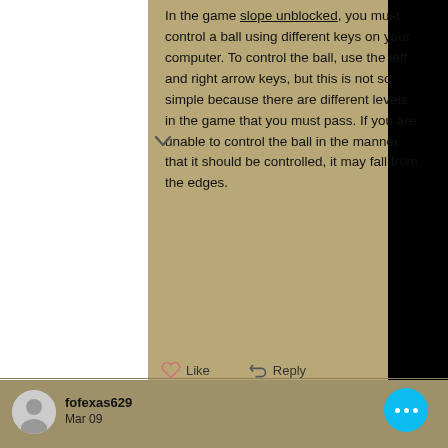In the game slope unblocked, you must control a ball using different keys on your computer. To control the ball, use the left and right arrow keys, but this is not so simple because there are different levels in the game that you must pass. If you are unable to control the ball in the manner that it should be controlled, it may fall from the edges.
Like   Reply
fofexas629
Mar 09